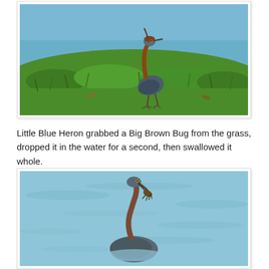[Figure (photo): A Little Blue Heron standing on a green grassy bank at the water's edge. The bird is dark blue-grey with a reddish-brown neck, long legs, and is walking on grass with blue water visible in the background.]
Little Blue Heron grabbed a Big Brown Bug from the grass, dropped it in the water for a second, then swallowed it whole.
[Figure (photo): A bird (Little Blue Heron) in blue water, with its neck curved downward holding a large bug/insect in its beak. The water shows gentle ripples and is a light blue color.]